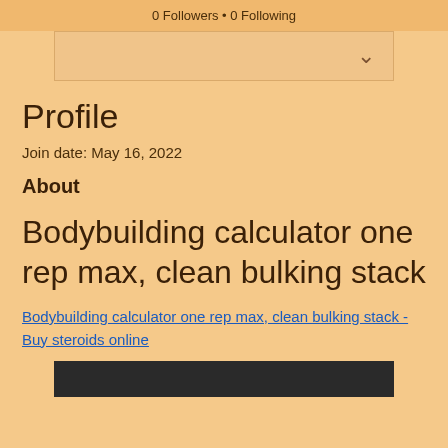0 Followers • 0 Following
Profile
Join date: May 16, 2022
About
Bodybuilding calculator one rep max, clean bulking stack
Bodybuilding calculator one rep max, clean bulking stack - Buy steroids online
[Figure (photo): Dark image at the bottom of the page]